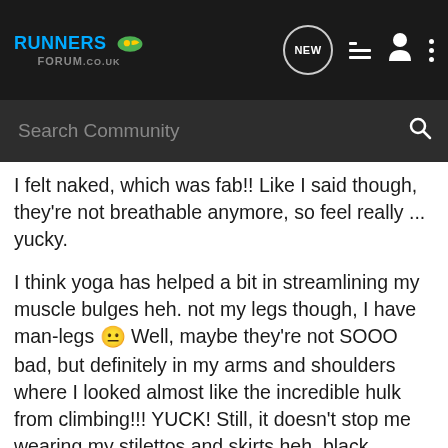RUNNERS FORUM .co.uk — navigation header with NEW, list, person, and dots icons
Search Community
I felt naked, which was fab!! Like I said though, they're not breathable anymore, so feel really ... yucky.

I think yoga has helped a bit in streamlining my muscle bulges heh. not my legs though, I have man-legs 😐 Well, maybe they're not SOOO bad, but definitely in my arms and shoulders where I looked almost like the incredible hulk from climbing!!! YUCK! Still, it doesn't stop me wearing my stilettos and skirts heh, black opague tights hide all! It's a lil bit crappy being such a girly girl and not having a girly girl body - having said that though, I look at models and they just look like skin and bone - I'm really not jealous, I always think to myself they must be really lazy, but of course if you never eat then you probably don't have enough energy to move heh *she says as she looks through the new elle longing for the new dior maxi dress* 😛